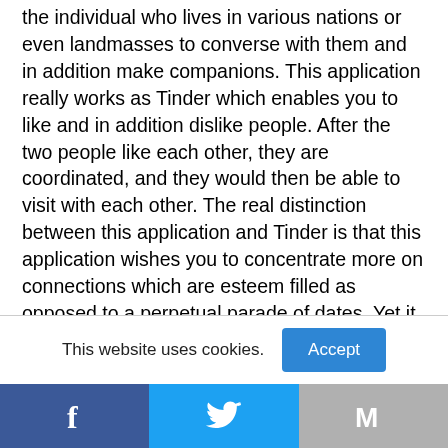the individual who lives in various nations or even landmasses to converse with them and in addition make companions. This application really works as Tinder which enables you to like and in addition dislike people. After the two people like each other, they are coordinated, and they would then be able to visit with each other. The real distinction between this application and Tinder is that this application wishes you to concentrate more on connections which are esteem filled as opposed to a perpetual parade of dates. Yet it becomes best Apps Like Tinder.
This website uses cookies.
Accept
[Figure (infographic): Social share bar with three sections: Facebook (blue, F icon), Twitter (light blue, bird icon), Gmail (gray, M icon)]